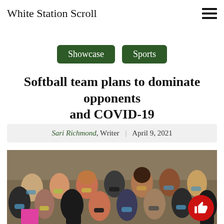White Station Scroll
Showcase
Sports
Softball team plans to dominate opponents and COVID-19
Sari Richmond, Writer | April 9, 2021
[Figure (photo): Group photo of softball team members wearing face masks outdoors on a field, posing together for a team photo during the COVID-19 pandemic.]